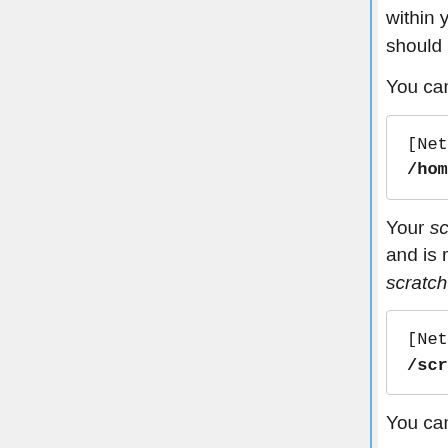within your home directory. This directory has smaller storage quotas and should not be used for general purpose.
You can navigate to your home directory with the following command:
[NetID@terra1 ~]$ cd /home/NetID
Your scratch directory has more storage space than your home directory and is recommended for general purpose use. You can navigate to your scratch directory with the following command:
[NetID@terra1 ~]$ cd /scratch/user/NetID
You can navigate to scratch or home